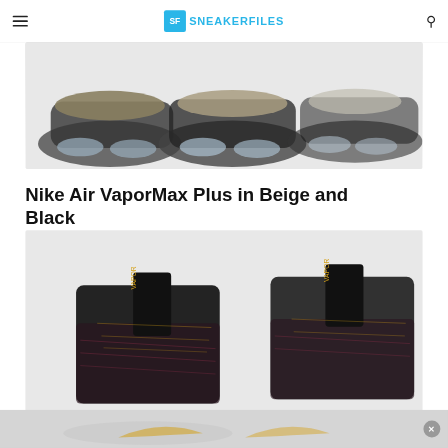SF SNEAKERFILES
[Figure (photo): Close-up of Nike Air VaporMax Plus sneakers in beige and black colorway, showing the sole and lower portion of multiple shoes against a light gray background.]
Nike Air VaporMax Plus in Beige and Black
[Figure (photo): Close-up of Nike Air VaporMax Flyknit sneakers in black with gold and pink accents, showing the upper portion with Vapormax branding on the tongue.]
[Figure (photo): Advertisement banner at bottom showing Nike sneakers with gold swoosh on light background.]